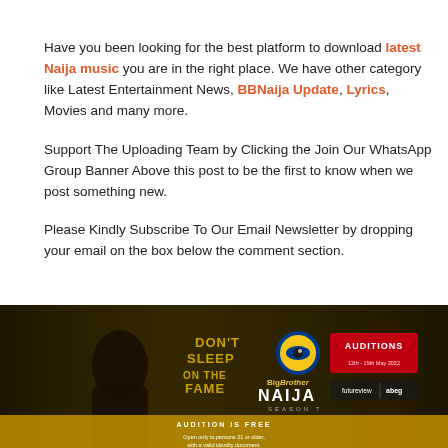Have you been looking for the best platform to download latest Naija music you are in the right place. We have other category like Latest Entertainment News, BBNaija Update, Lyrics, Movies and many more.

Support The Uploading Team by Clicking the Join Our WhatsApp Group Banner Above this post to be the first to know when we post something new.

Please Kindly Subscribe To Our Email Newsletter by dropping your email on the box below the comment section.
[Figure (photo): BBNaija Season 7 auditions promotional banner showing two people (a man and a woman) with text 'Don't Sleep On The Fame', BigBrother Naija logo, Auditions details, and sponsors including futureview and abeg. Text at bottom: Audition is Free, Open only to persons 21 or older with a valid identity document.]